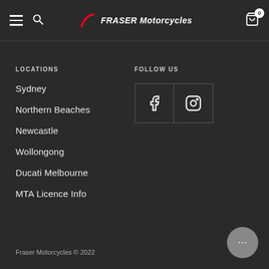Fraser Motorcycles — Navigation header with hamburger menu, search icon, logo, and cart (0)
LOCATIONS
Sydney
Northern Beaches
Newcastle
Wollongong
Ducati Melbourne
MTA Licence Info
FOLLOW US
[Figure (other): Social media icons: Facebook and Instagram side by side in bordered boxes]
Fraser Motorcycles © 2022